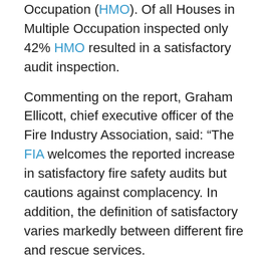Occupation (HMO). Of all Houses in Multiple Occupation inspected only 42% HMO resulted in a satisfactory audit inspection.
Commenting on the report, Graham Ellicott, chief executive officer of the Fire Industry Association, said: “The FIA welcomes the reported increase in satisfactory fire safety audits but cautions against complacency. In addition, the definition of satisfactory varies markedly between different fire and rescue services.
“For example some will ‘mark’ even minor failures as unsatisfactory whereas others in the same situation will offer guidance and advice and if this rectifies problems then no further action is taken.
“Thus it can be difficult to compare the figures between the fire and rescue services and a more appropriate